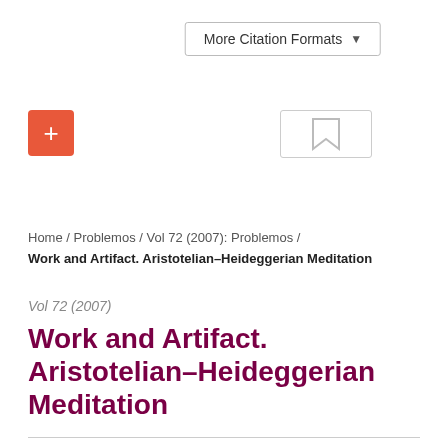[Figure (screenshot): More Citation Formats dropdown button]
[Figure (screenshot): Orange plus button and bookmark/tag button]
Home / Problemos / Vol 72 (2007): Problemos / Work and Artifact. Aristotelian–Heideggerian Meditation
Vol 72 (2007)
Work and Artifact. Aristotelian–Heideggerian Meditation